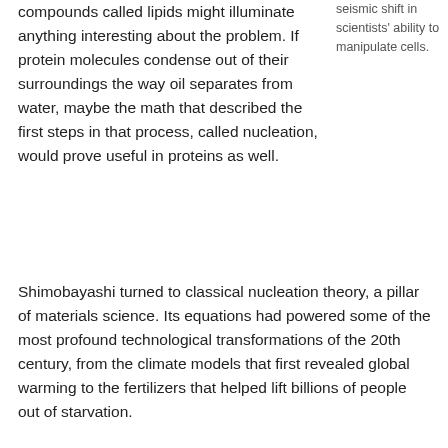compounds called lipids might illuminate anything interesting about the problem. If protein molecules condense out of their surroundings the way oil separates from water, maybe the math that described the first steps in that process, called nucleation, would prove useful in proteins as well.
seismic shift in scientists' ability to manipulate cells.
Shimobayashi turned to classical nucleation theory, a pillar of materials science. Its equations had powered some of the most profound technological transformations of the 20th century, from the climate models that first revealed global warming to the fertilizers that helped lift billions of people out of starvation.